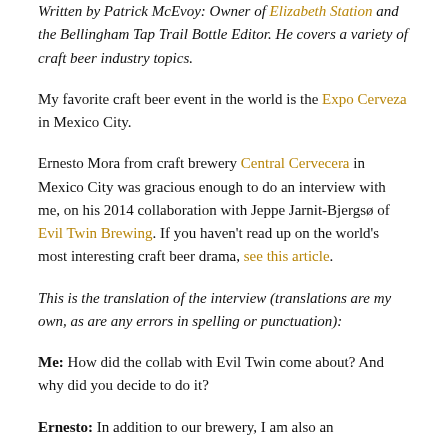Written by Patrick McEvoy: Owner of Elizabeth Station and the Bellingham Tap Trail Bottle Editor. He covers a variety of craft beer industry topics.
My favorite craft beer event in the world is the Expo Cerveza in Mexico City.
Ernesto Mora from craft brewery Central Cervecera in Mexico City was gracious enough to do an interview with me, on his 2014 collaboration with Jeppe Jarnit-Bjergsø of Evil Twin Brewing. If you haven't read up on the world's most interesting craft beer drama, see this article.
This is the translation of the interview (translations are my own, as are any errors in spelling or punctuation):
Me: How did the collab with Evil Twin come about? And why did you decide to do it?
Ernesto: In addition to our brewery, I am also an